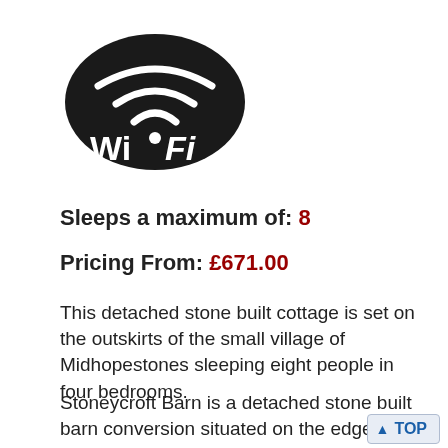[Figure (logo): Wi-Fi logo: black oval background with white Wi-Fi signal arcs and white text 'Wi Fi']
Sleeps a maximum of: 8
Pricing From: £671.00
This detached stone built cottage is set on the outskirts of the small village of Midhopestones sleeping eight people in four bedrooms.
Stoneycroft Barn is a detached stone built barn conversion situated on the edge of the quiet village of Midhopestones. This cottage sleeps eight people and has four bedrooms consisting of one double with an en-suite